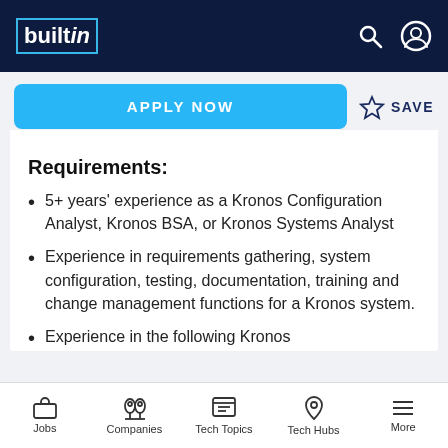builtin — navigation bar with search and profile icons
[Figure (screenshot): Apply Now button (blue) and Save (star icon) in header action bar]
Requirements:
5+ years' experience as a Kronos Configuration Analyst, Kronos BSA, or Kronos Systems Analyst
Experience in requirements gathering, system configuration, testing, documentation, training and change management functions for a Kronos system.
Experience in the following Kronos
Jobs | Companies | Tech Topics | Tech Hubs | More